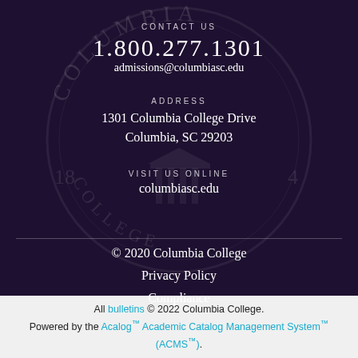CONTACT US
1.800.277.1301
admissions@columbiasc.edu
ADDRESS
1301 Columbia College Drive
Columbia, SC 29203
VISIT US ONLINE
columbiasc.edu
© 2020 Columbia College
Privacy Policy
Compliance
All bulletins © 2022 Columbia College. Powered by the Acalog™ Academic Catalog Management System™ (ACMS™).